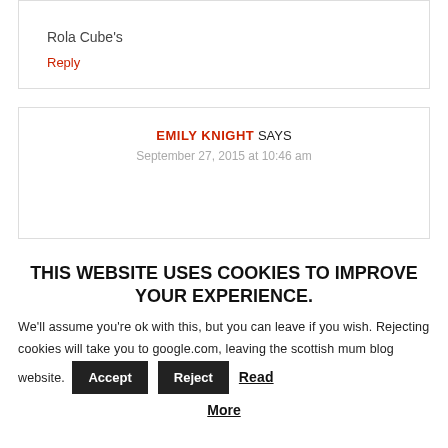Rola Cube's
Reply
EMILY KNIGHT SAYS
September 27, 2015 at 10:46 am
THIS WEBSITE USES COOKIES TO IMPROVE YOUR EXPERIENCE.
We'll assume you're ok with this, but you can leave if you wish. Rejecting cookies will take you to google.com, leaving the scottish mum blog website.
Accept
Reject
Read More